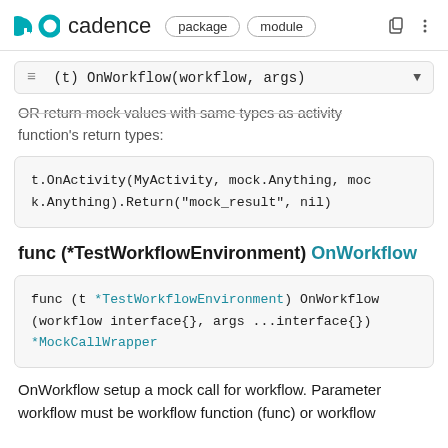GO cadence package module
(t) OnWorkflow(workflow, args)
OR return mock values with same types as activity function's return types:
t.OnActivity(MyActivity, mock.Anything, mock.Anything).Return("mock_result", nil)
func (*TestWorkflowEnvironment) OnWorkflow
func (t *TestWorkflowEnvironment) OnWorkflow(workflow interface{}, args ...interface{}) *MockCallWrapper
OnWorkflow setup a mock call for workflow. Parameter workflow must be workflow function (func) or workflow